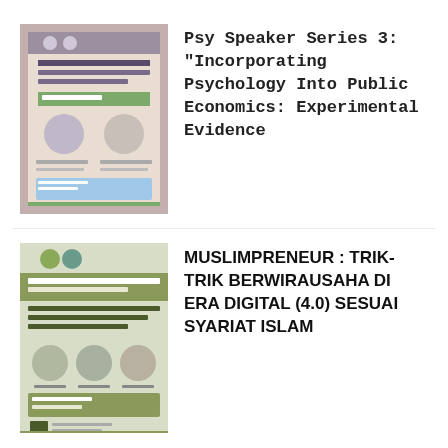[Figure (illustration): Thumbnail of 'Psy Speaker Series 3' event poster - International Webinar about Incorporating Psychology into Public Economics]
Psy Speaker Series 3: “Incorporating Psychology Into Public Economics: Experimental Evidence
[Figure (illustration): Thumbnail of 'Muslimpreneur' event poster - Webinar about entrepreneurship tricks in digital era according to Islamic law]
MUSLIMPRENEUR : TRIK-TRIK BERWIRAUSAHA DI ERA DIGITAL (4.0) SESUAI SYARIAT ISLAM
POSTS SLIDER
[Figure (screenshot): Partial preview of a post thumbnail at the bottom of the page, partially cut off, showing 1 min read tag and beginning of a title 'Internet of Thi...']